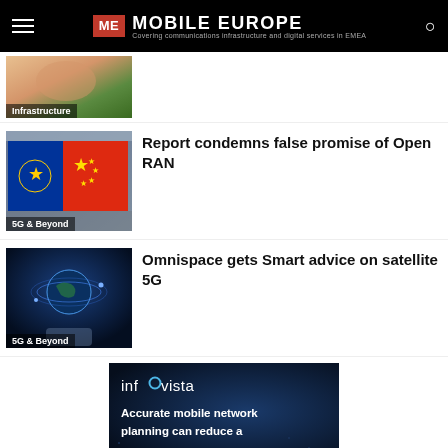ME MOBILE EUROPE — Covering communications infrastructure and digital services in EMEA
[Figure (photo): Thumbnail image with Infrastructure label tag, partial view]
[Figure (photo): EU and Chinese flags with cloudy sky, labeled 5G & Beyond]
Report condemns false promise of Open RAN
[Figure (photo): Person holding globe with satellite orbit graphic, labeled 5G & Beyond]
Omnispace gets Smart advice on satellite 5G
[Figure (infographic): Infovista ad banner: Accurate mobile network planning can reduce a...]